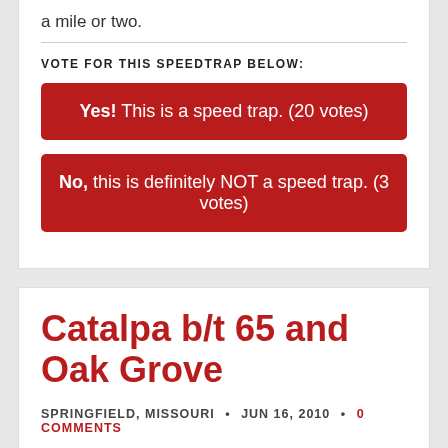a mile or two.
VOTE FOR THIS SPEEDTRAP BELOW:
Yes! This is a speed trap. (20 votes)
No, this is definitely NOT a speed trap. (3 votes)
Catalpa b/t 65 and Oak Grove
SPRINGFIELD, MISSOURI • JUN 16, 2010 • 0 COMMENTS